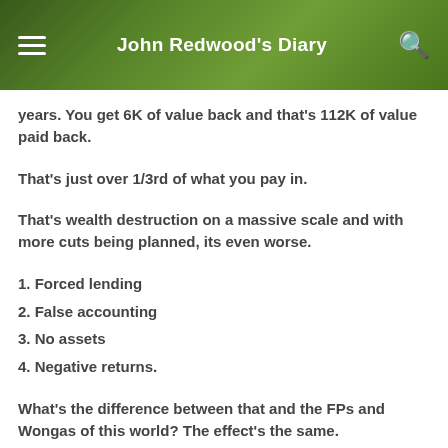John Redwood's Diary
years. You get 6K of value back and that's 112K of value paid back.
That's just over 1/3rd of what you pay in.
That's wealth destruction on a massive scale and with more cuts being planned, its even worse.
1. Forced lending
2. False accounting
3. No assets
4. Negative returns.
What's the difference between that and the FPs and Wongas of this world? The effect's the same.